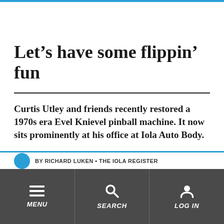Let’s have some flippin’ fun
Curtis Utley and friends recently restored a 1970s era Evel Knievel pinball machine. It now sits prominently at his office at Iola Auto Body.
By RICHARD LUKEN • THE IOLA REGISTER
MENU | SEARCH | LOG IN